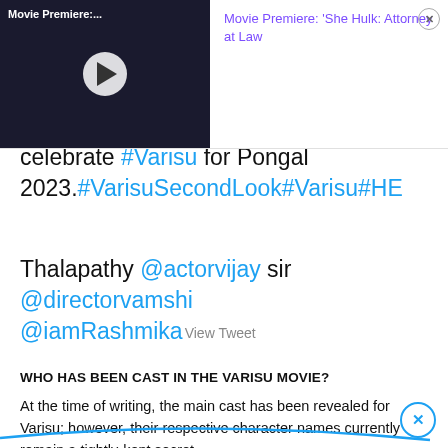[Figure (screenshot): Ad overlay showing a video thumbnail on the left with 'Movie Premiere:...' label and play button, and on the right a purple text title 'Movie Premiere: She Hulk: Attorney at Law' with a close X button]
celebrate #Varisu for Pongal 2023.#VarisuSecondLook#Varisu#HE
Thalapathy @actorvijay sir @directorvamshi @iamRashmika View Tweet
WHO HAS BEEN CAST IN THE VARISU MOVIE?
At the time of writing, the main cast has been revealed for Varisu; however, their respective character names currently remain a tightly-kept secret.